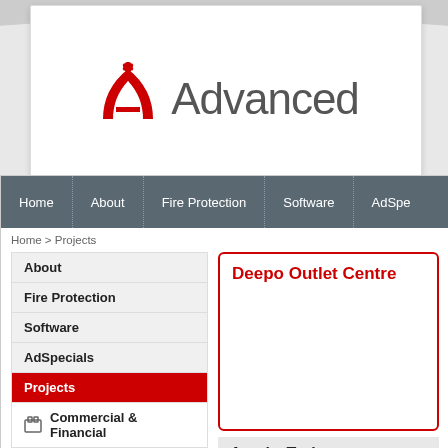[Figure (logo): Advanced company logo with red tent/arch icon and grey 'Advanced' text]
[Figure (screenshot): Website screenshot showing navigation bar with Home, About, Fire Protection, Software, AdSpecials tabs; breadcrumb Home > Projects; left sidebar with About, Fire Protection, Software, AdSpecials, Projects (active/red), and sub-items Commercial & Financial, Leisure & Hospitality, Highrise, Landmark, Sports & Entertainment, Education, Healthcare, Science & Technology, Government & Public, Retail; right panel showing 'Deepo Outlet Centre' project card with location 'Antaly, Turkey' and partial description text]
Deepo Outlet Centre
Antaly, Turkey
Deepo Outlet Centre opened in 2004 and is the largest outlet centre in the Mediterranean region. Located in